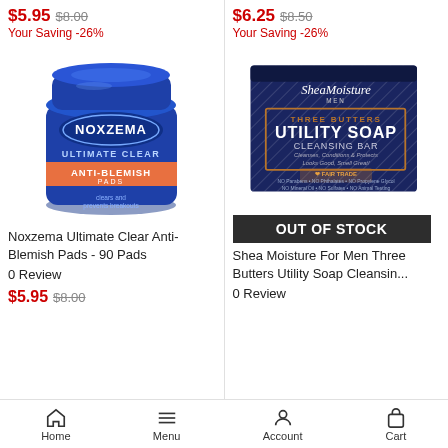$5.95 $8.00
Your Saving -26%
$6.25 $8.50
Your Saving -26%
[Figure (photo): Noxzema Ultimate Clear Anti-Blemish Pads jar, 90 pads, blue round container with orange label]
[Figure (photo): Shea Moisture Men Three Butters Utility Soap Cleansing Bar, dark navy blue box with gold/copper text]
OUT OF STOCK
Noxzema Ultimate Clear Anti-Blemish Pads - 90 Pads
Shea Moisture For Men Three Butters Utility Soap Cleansin...
0 Review
0 Review
$5.95 $8.00
Home   Menu   Account   Cart